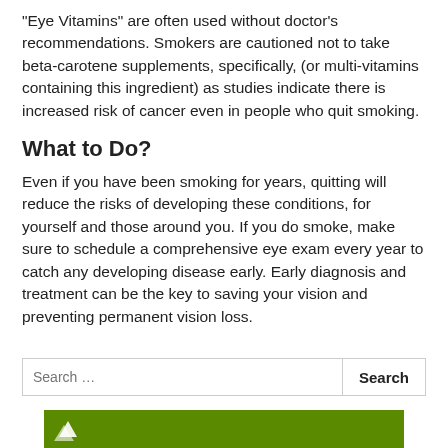"Eye Vitamins" are often used without doctor's recommendations. Smokers are cautioned not to take beta-carotene supplements, specifically, (or multi-vitamins containing this ingredient) as studies indicate there is increased risk of cancer even in people who quit smoking.
What to Do?
Even if you have been smoking for years, quitting will reduce the risks of developing these conditions, for yourself and those around you. If you do smoke, make sure to schedule a comprehensive eye exam every year to catch any developing disease early. Early diagnosis and treatment can be the key to saving your vision and preventing permanent vision loss.
Search ...
[Figure (other): Green footer bar with white logo icon]